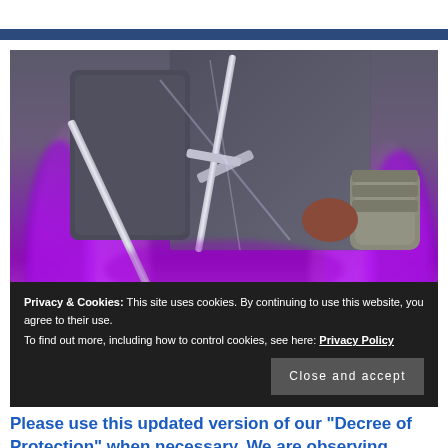[Figure (photo): A knight in chain mail armor holding crossed swords with purple fire/flame effects in the background.]
Privacy & Cookies: This site uses cookies. By continuing to use this website, you agree to their use.
To find out more, including how to control cookies, see here: Privacy Policy
Close and accept
Please use this updated version of our "Decree of Protection" when necessary. We are observing